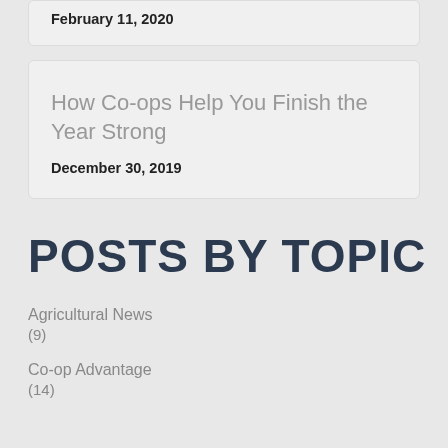February 11, 2020
How Co-ops Help You Finish the Year Strong
December 30, 2019
POSTS BY TOPIC
Agricultural News
(9)
Co-op Advantage
(14)